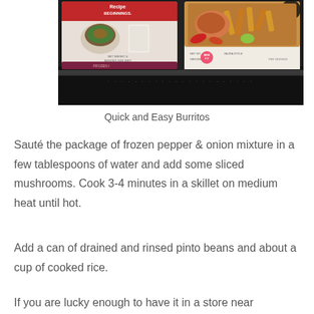[Figure (photo): A photograph of two packages of frozen food products in what appears to be a freezer. The left package shows 'Recipe Beginnings' branding with an image of a bowl of food and what appears to be a pepper and onion mixture. The right package shows a meal with chicken and vegetables. The freezer shelf/drawer is visible in the lower portion of the image.]
Quick and Easy Burritos
Sauté the package of frozen pepper & onion mixture in a few tablespoons of water and add some sliced mushrooms. Cook 3-4 minutes in a skillet on medium heat until hot.
Add a can of drained and rinsed pinto beans and about a cup of cooked rice.
If you are lucky enough to have it in a store near